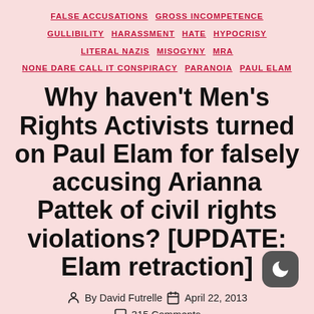FALSE ACCUSATIONS   GROSS INCOMPETENCE   GULLIBILITY   HARASSMENT   HATE   HYPOCRISY   LITERAL NAZIS   MISOGYNY   MRA   NONE DARE CALL IT CONSPIRACY   PARANOIA   PAUL ELAM
Why haven’t Men’s Rights Activists turned on Paul Elam for falsely accusing Arianna Pattek of civil rights violations? [UPDATE: Elam retraction]
By David Futrelle   April 22, 2013   315 Comments